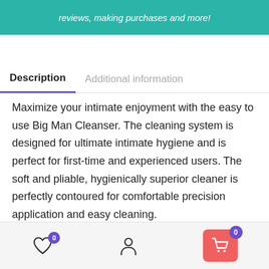reviews, making purchases and more!
Description	Additional information
Maximize your intimate enjoyment with the easy to use Big Man Cleanser. The cleaning system is designed for ultimate intimate hygiene and is perfect for first-time and experienced users. The soft and pliable, hygienically superior cleaner is perfectly contoured for comfortable precision application and easy cleaning.
[Figure (infographic): Bottom navigation bar with heart/wishlist icon (badge 0), user/account icon, and shopping cart button (badge 0) on a light gray background]